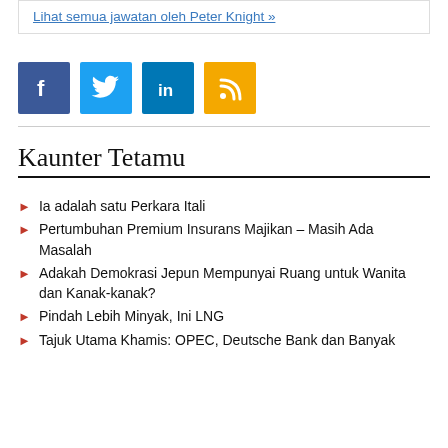Lihat semua jawatan oleh Peter Knight »
[Figure (other): Social media icons: Facebook (blue), Twitter (light blue), LinkedIn (blue), RSS (gold/yellow)]
Kaunter Tetamu
Ia adalah satu Perkara Itali
Pertumbuhan Premium Insurans Majikan – Masih Ada Masalah
Adakah Demokrasi Jepun Mempunyai Ruang untuk Wanita dan Kanak-kanak?
Pindah Lebih Minyak, Ini LNG
Tajuk Utama Khamis: OPEC, Deutsche Bank dan Banyak